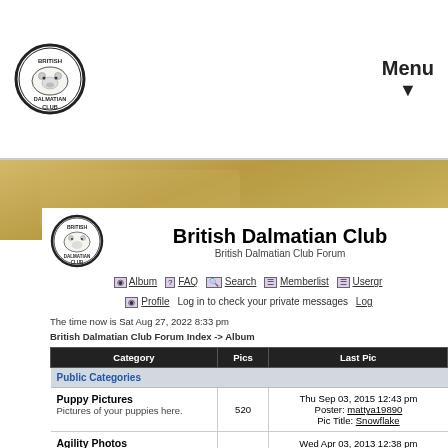[Figure (logo): British Dalmatian Club circular logo with dalmatian dog, top navigation bar]
Menu ▼
[Figure (photo): Golden/tan wood background hero banner]
[Figure (logo): British Dalmatian Club circular logo inside main forum panel]
British Dalmatian Club
British Dalmatian Club Forum
Album  FAQ  Search  Memberlist  Usergr...  Profile  Log in to check your private messages  Log
The time now is Sat Aug 27, 2022 8:33 pm
British Dalmatian Club Forum Index -> Album
| Category | Pics | Last Pic |
| --- | --- | --- |
| Public Categories |  |  |
| Puppy Pictures
Pictures of your puppies here. | 520 | Thu Sep 03, 2015 12:43 pm
Poster: mattya19890
Pic Title: Snowflake |
| Agility Photos
Pictures of your Dalmatians doing agility. | 71 | Wed Apr 03, 2013 12:38 pm
Poster: Hebemor
Pic Title: Sophie 14th |
| Carriage Dog Trials
... | 204 | Sat Nov 19, 2011 7:53 pm
Poster: Anne Dickens... |